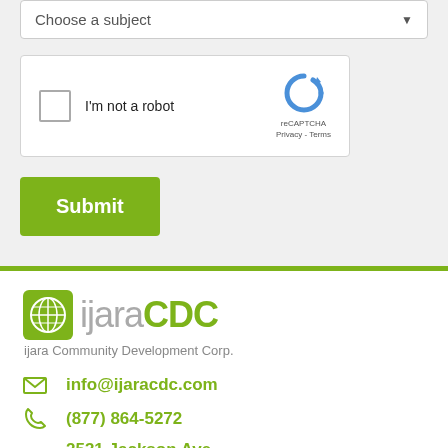Choose a subject
[Figure (screenshot): reCAPTCHA widget with checkbox labeled I'm not a robot]
Submit
[Figure (logo): ijaraCDC logo with globe icon and text 'ijara Community Development Corp.']
info@ijaracdc.com
(877) 864-5272
2531 Jackson Ave
Suite 221